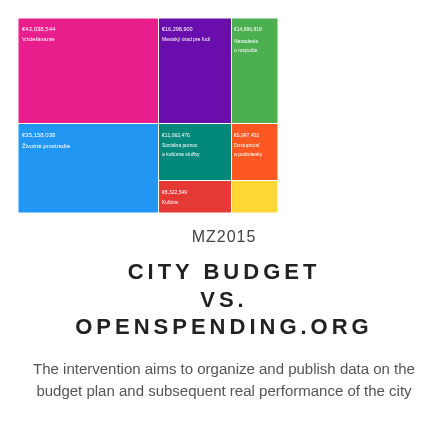[Figure (other): Treemap chart showing city budget categories including Vzdelávanie (€42,038,544), Mestský úrad pre ľudí (€16,298,900), Nariadenie o rozpočte (€14,896,819), Životné prostredie (€35,158,038), Sociálna pomoc a kultúrne služby (€11,062,476), Dostupnosť a životné podmienky (€6,997,402), Kultúra (€8,322,549)]
MZ2015
CITY BUDGET VS. OPENSPENDING.ORG
The intervention aims to organize and publish data on the budget plan and subsequent real performance of the city